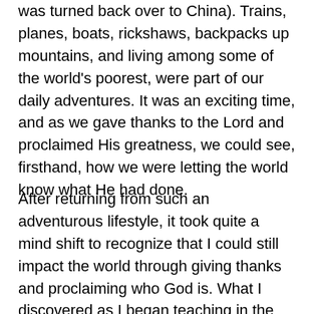was turned back over to China). Trains, planes, boats, rickshaws, backpacks up mountains, and living among some of the world's poorest, were part of our daily adventures. It was an exciting time, and as we gave thanks to the Lord and proclaimed His greatness, we could see, firsthand, how we were letting the world know what He had done.
After returning from such an adventurous lifestyle, it took quite a mind shift to recognize that I could still impact the world through giving thanks and proclaiming who God is. What I discovered as I began teaching in the city in which I was raised, is that the